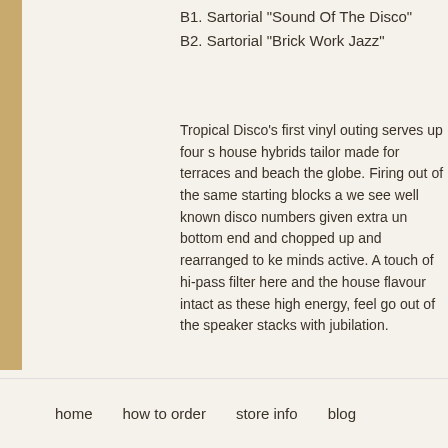B1. Sartorial "Sound Of The Disco"
B2. Sartorial "Brick Work Jazz"
Tropical Disco's first vinyl outing serves up four s... house hybrids tailor made for terraces and beach... the globe. Firing out of the same starting blocks a... we see well known disco numbers given extra un... bottom end and chopped up and rearranged to ke... minds active. A touch of hi-pass filter here and the... house flavour intact as these high energy, feel go... out of the speaker stacks with jubilation.
home   how to order   store info   blog